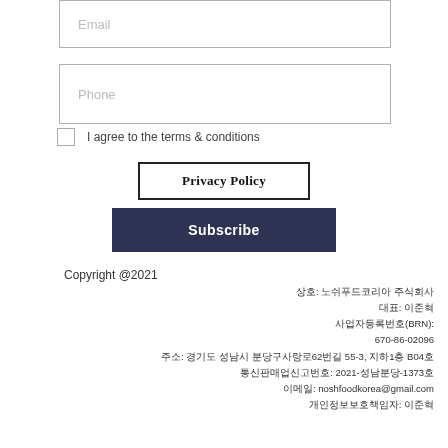Email
Phone
I agree to the terms & conditions
Privacy Policy
Subscribe
Copyright @2021
상호: 노쉬푸드코리아 주식회사
대표: 이준혁
사업자등록번호(BRN):
670-86-02096
주소: 경기도 성남시 분당구사랑로62번길 55-3, 지하1층 B04호
통신판매업신고번호: 2021-성남분당-1373호
이메일: noshfoodkorea@gmail.com
개인정보보호책임자: 이준혁